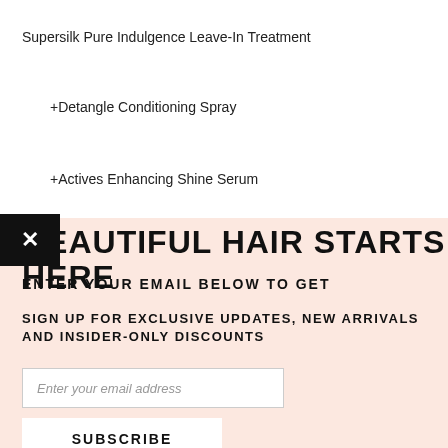Supersilk Pure Indulgence Leave-In Treatment
+Detangle Conditioning Spray
+Actives Enhancing Shine Serum
+ddd Shine Serum (partially visible)
BEAUTIFUL HAIR STARTS HERE
ENTER YOUR EMAIL BELOW TO GET
SIGN UP FOR EXCLUSIVE UPDATES, NEW ARRIVALS AND INSIDER-ONLY DISCOUNTS
Enter your email address
SUBSCRIBE